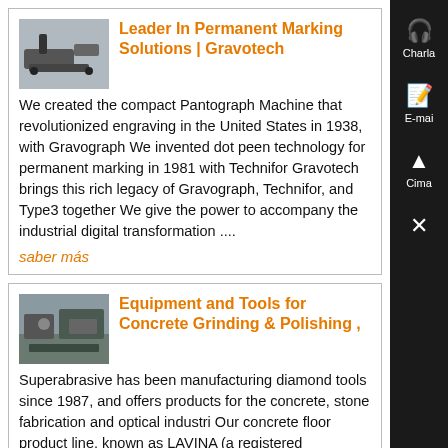Leader In Permanent Marking Solutions | Gravotech
[Figure (photo): Thumbnail image of an engraving/marking machine]
We created the compact Pantograph Machine that revolutionized engraving in the United States in 1938, with Gravograph We invented dot peen technology for permanent marking in 1981 with Technifor Gravotech brings this rich legacy of Gravograph, Technifor, and Type3 together We give the power to accompany the industrial digital transformation ....
saber más
Equipment and Tools for Concrete Grinding & Polishing ,
[Figure (photo): Thumbnail image of concrete grinding equipment/site]
Superabrasive has been manufacturing diamond tools since 1987, and offers products for the concrete, stone fabrication and optical industri Our concrete floor product line, known as LAVINA (a registered trademark by Superabrasive), has quickly become our core business LAVINA equipment and tools are used for floor grinding, floor leveling .....